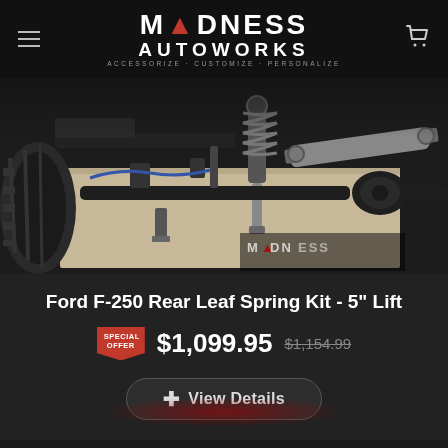MADNESS AUTOWORKS — ACCESSORIZE · CUSTOMIZE · PERSONALIZE
[Figure (photo): Undercarriage view of a lifted truck showing rear leaf spring, shock absorber, and driveshaft components. Madness Autoworks watermark visible in lower right corner.]
Ford F-250 Rear Leaf Spring Kit - 5" Lift
SPECIAL OFFER $1,099.95 $1,154.99
+ View Details